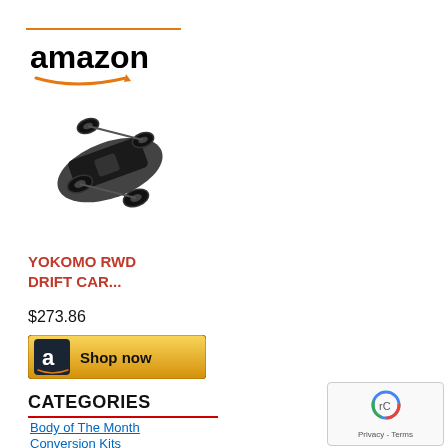[Figure (logo): Amazon logo with orange top bar and smile arrow]
[Figure (photo): RC drift car chassis (YOKOMO RWD) viewed from above at angle, black chassis with four wheels]
YOKOMO RWD DRIFT CAR...
$273.86
[Figure (other): Amazon 'Shop now' button with Amazon 'a' icon on dark background and golden gradient button]
CATEGORIES
Body of The Month
Conversion Kits
[Figure (other): reCAPTCHA privacy badge with robot icon and Privacy - Terms text]